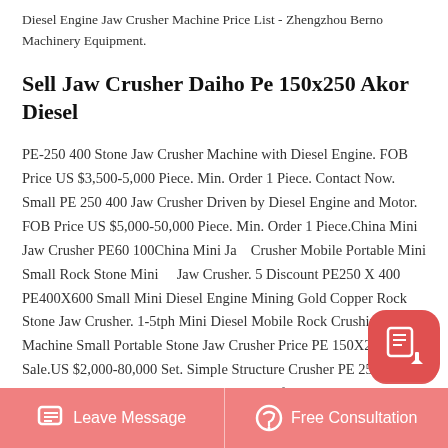Diesel Engine Jaw Crusher Machine Price List - Zhengzhou Berno Machinery Equipment.
Sell Jaw Crusher Daiho Pe 150x250 Akor Diesel
PE-250 400 Stone Jaw Crusher Machine with Diesel Engine. FOB Price US $3,500-5,000 Piece. Min. Order 1 Piece. Contact Now. Small PE 250 400 Jaw Crusher Driven by Diesel Engine and Motor. FOB Price US $5,000-50,000 Piece. Min. Order 1 Piece.China Mini Jaw Crusher PE60 100China Mini Jaw Crusher Mobile Portable Mini Small Rock Stone Mini Jaw Crusher. 5 Discount PE250 X 400 PE400X600 Small Mini Diesel Engine Mining Gold Copper Rock Stone Jaw Crusher. 1-5tph Mini Diesel Mobile Rock Crushing Machine Small Portable Stone Jaw Crusher Price PE 150X250 for Sale.US $2,000-80,000 Set. Simple Structure Crusher PE 250X400 Jaw Crusher with Low Power Consumption for
Leave Message   Free Consultation